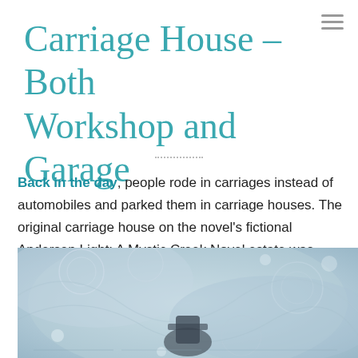Carriage House – Both Workshop and Garage
Back in the day, people rode in carriages instead of automobiles and parked them in carriage houses. The original carriage house on the novel's fictional Andersen Light: A Mystic Creek Novel estate was quite large. Luther Andersen eventually converted it into both a garage and a workshop.
[Figure (photo): Abstract blue/grey textured image resembling swirling snow or lace patterns with a dark silhouette in the center, partially visible at the bottom of the page.]